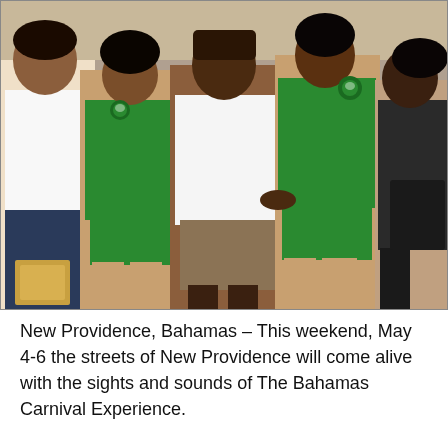[Figure (photo): Group photo of several people posing together indoors. Two women wearing green sleeveless tops/rompers with a festival logo, one man in a white t-shirt and khaki cargo shorts with dark boots, and two other individuals partially visible on the edges. The background shows a tiled floor with yellow stripe markings.]
New Providence, Bahamas – This weekend, May 4-6 the streets of New Providence will come alive with the sights and sounds of The Bahamas Carnival Experience.